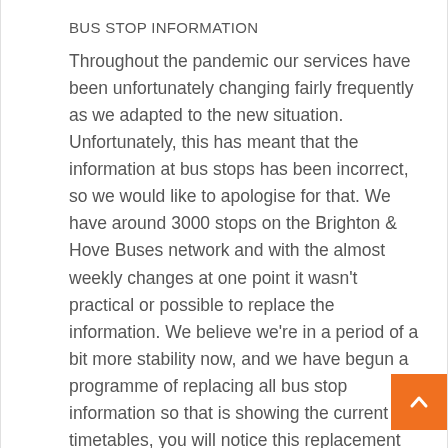BUS STOP INFORMATION
Throughout the pandemic our services have been unfortunately changing fairly frequently as we adapted to the new situation. Unfortunately, this has meant that the information at bus stops has been incorrect, so we would like to apologise for that. We have around 3000 stops on the Brighton & Hove Buses network and with the almost weekly changes at one point it wasn't practical or possible to replace the information. We believe we're in a period of a bit more stability now, and we have begun a programme of replacing all bus stop information so that is showing the current timetables, you will notice this replacement over the next month as we work our way around the entire network.hilst in the cab although our drivers are already working behind